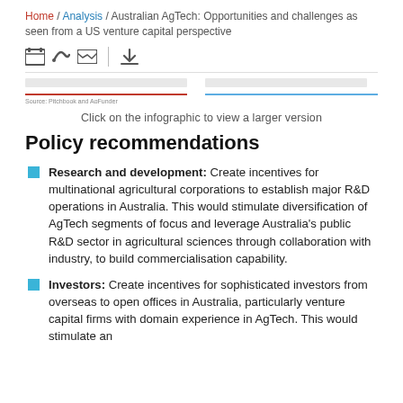Home / Analysis / Australian AgTech: Opportunities and challenges as seen from a US venture capital perspective
[Figure (infographic): Social sharing icons: Facebook, Twitter, Email, and a download icon, separated by a vertical divider.]
[Figure (infographic): Infographic strip with two panels separated by a gap. Left panel shows a red horizontal line with a light label area above; right panel shows a blue horizontal line with a light label area above. Source attribution: Pitchbook and AgFunder.]
Click on the infographic to view a larger version
Policy recommendations
Research and development: Create incentives for multinational agricultural corporations to establish major R&D operations in Australia. This would stimulate diversification of AgTech segments of focus and leverage Australia's public R&D sector in agricultural sciences through collaboration with industry, to build commercialisation capability.
Investors: Create incentives for sophisticated investors from overseas to open offices in Australia, particularly venture capital firms with domain experience in AgTech. This would stimulate an